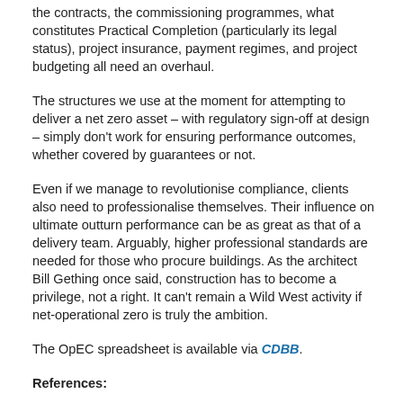the contracts, the commissioning programmes, what constitutes Practical Completion (particularly its legal status), project insurance, payment regimes, and project budgeting all need an overhaul.
The structures we use at the moment for attempting to deliver a net zero asset – with regulatory sign-off at design – simply don't work for ensuring performance outcomes, whether covered by guarantees or not.
Even if we manage to revolutionise compliance, clients also need to professionalise themselves. Their influence on ultimate outturn performance can be as great as that of a delivery team. Arguably, higher professional standards are needed for those who procure buildings. As the architect Bill Gething once said, construction has to become a privilege, not a right. It can't remain a Wild West activity if net-operational zero is truly the ambition.
The OpEC spreadsheet is available via CDBB.
References: